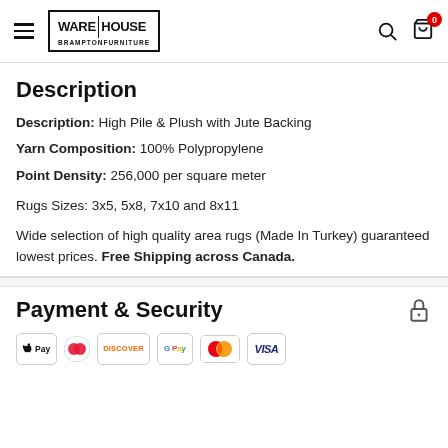Warehouse Brampton Furniture — navigation header
Description
Description: High Pile & Plush with Jute Backing
Yarn Composition: 100% Polypropylene
Point Density: 256,000 per square meter
Rugs Sizes: 3x5, 5x8, 7x10 and 8x11
Wide selection of high quality area rugs (Made In Turkey) guaranteed lowest prices. Free Shipping across Canada.
Payment & Security
[Figure (logo): Payment method logos: Apple Pay, Diners Club, Discover, Google Pay, Mastercard, Visa]